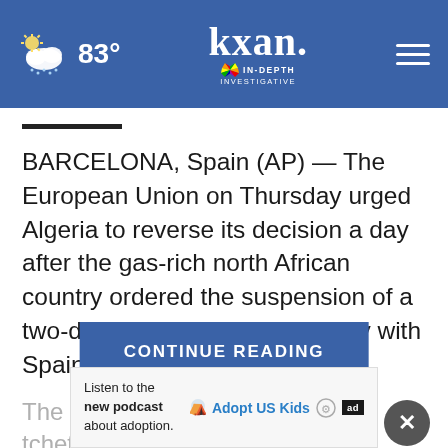83° kxan IN-DEPTH INVESTIGATIVE
BARCELONA, Spain (AP) — The European Union on Thursday urged Algeria to reverse its decision a day after the gas-rich north African country ordered the suspension of a two-decade-old friendship treaty with Spain.
The move was … ratchet up …
CONTINUE READING
Listen to the new podcast about adoption.